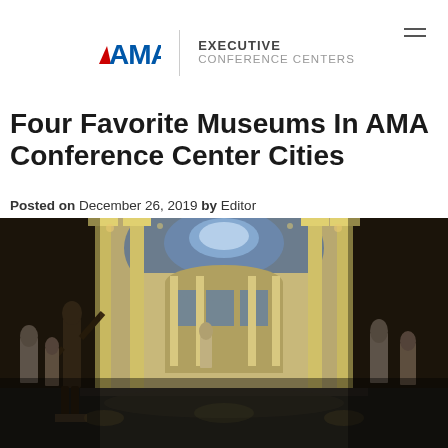AMA EXECUTIVE CONFERENCE CENTERS
Four Favorite Museums In AMA Conference Center Cities
Posted on December 26, 2019 by Editor
[Figure (photo): Interior of a classical museum gallery with Greek/Roman sculptures, tall columns, a domed skylight, and a bronze warrior statue in the foreground]